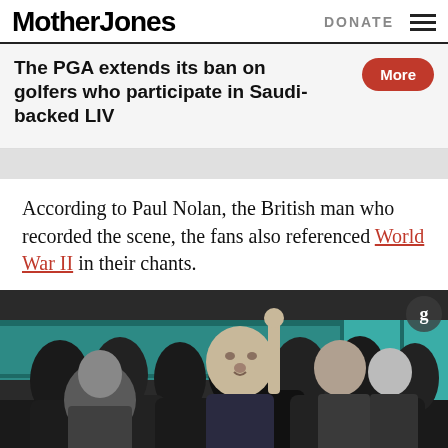Mother Jones | DONATE
The PGA extends its ban on golfers who participate in Saudi-backed LIV
According to Paul Nolan, the British man who recorded the scene, the fans also referenced World War II in their chants.
[Figure (photo): Crowd of people on a metro/subway train, with a man in a dark jacket prominently visible, mouths open as if chanting. A Guardian video watermark appears in the top right corner.]